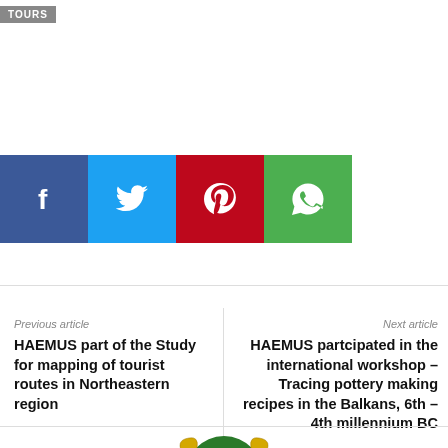TOURS
[Figure (infographic): Row of four social media sharing buttons: Facebook (blue), Twitter (light blue), Pinterest (red), WhatsApp (green)]
Previous article
HAEMUS part of the Study for mapping of tourist routes in Northeastern region
Next article
HAEMUS partcipated in the international workshop – Tracing pottery making recipes in the Balkans, 6th – 4th millennium BC
[Figure (logo): Green heraldic crest/coat of arms with a griffin, decorative scrollwork, and gold elements at bottom]